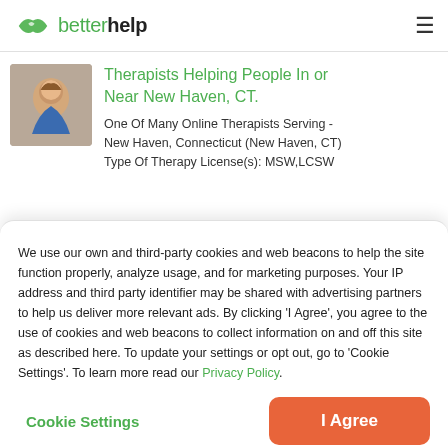betterhelp
Therapists Helping People In or Near New Haven, CT.
One Of Many Online Therapists Serving - New Haven, Connecticut (New Haven, CT)
Type Of Therapy License(s): MSW,LCSW
We use our own and third-party cookies and web beacons to help the site function properly, analyze usage, and for marketing purposes. Your IP address and third party identifier may be shared with advertising partners to help us deliver more relevant ads. By clicking 'I Agree', you agree to the use of cookies and web beacons to collect information on and off this site as described here. To update your settings or opt out, go to 'Cookie Settings'. To learn more read our Privacy Policy.
Cookie Settings
I Agree